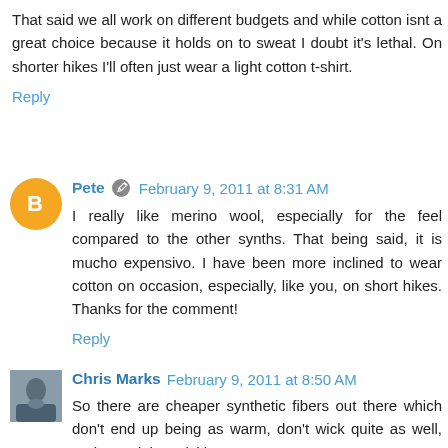That said we all work on different budgets and while cotton isnt a great choice because it holds on to sweat I doubt it's lethal. On shorter hikes I'll often just wear a light cotton t-shirt.
Reply
Pete  February 9, 2011 at 8:31 AM
I really like merino wool, especially for the feel compared to the other synths. That being said, it is mucho expensivo. I have been more inclined to wear cotton on occasion, especially, like you, on short hikes. Thanks for the comment!
Reply
Chris Marks  February 9, 2011 at 8:50 AM
So there are cheaper synthetic fibers out there which don't end up being as warm, don't wick quite as well, and get stinky quickly.